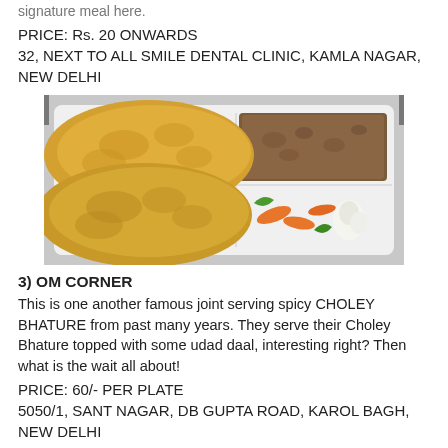signature meal here.
PRICE: Rs. 20 ONWARDS
32, NEXT TO ALL SMILE DENTAL CLINIC, KAMLA NAGAR, NEW DELHI
[Figure (photo): Photo of Choley Bhature on a white plate with chole curry, pickled vegetables and garlic]
3) OM CORNER
This is one another famous joint serving spicy CHOLEY BHATURE from past many years. They serve their Choley Bhature topped with some udad daal, interesting right? Then what is the wait all about!
PRICE: 60/- PER PLATE
5050/1, SANT NAGAR, DB GUPTA ROAD, KAROL BAGH, NEW DELHI
4) BHANU KE MASHOOR CHOLEY BHATURE
They serve scrumptious CHOLEY BHATURE with a glass of lassi, could a day start any better? Ofcourse not! Their speciality is that they season the dish with heeng and garam masala that makes it